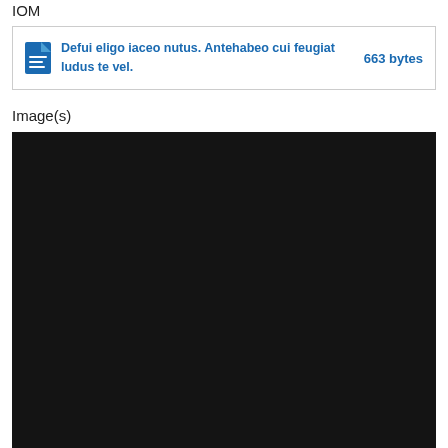IOM
Defui eligo iaceo nutus. Antehabeo cui feugiat ludus te vel. 663 bytes
Image(s)
[Figure (photo): Large black/dark image area below Image(s) label]